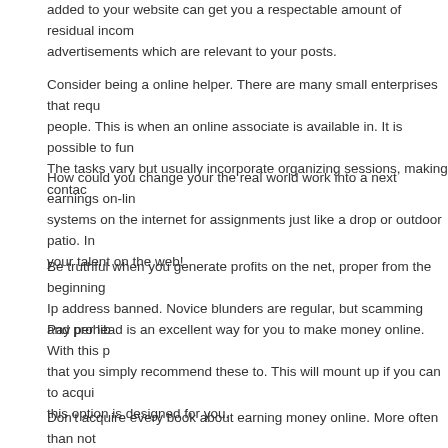added to your website can get you a respectable amount of residual income advertisements which are relevant to your posts.
Consider being a online helper. There are many small enterprises that require people. This is when an online associate is available in. It is possible to function The tasks vary but usually incorporate organizing sessions, making contact
How could you change your the real world work into a next earnings on-line systems on the internet for assignments just like a drop or outdoor patio. In your talent on the web!
Be truthful when you generate profits on the net, proper from the beginning Ip address banned. Novice blunders are regular, but scamming and prohib
Pay per lead is an excellent way for you to make money online. With this p that you simply recommend these to. This will mount up if you can to acqui this option is designed for you.
Don't acquire every book about earning money online. More often than not are teaching people how to make money on-line. Before you purchase an e to the writer, and that you have observed testimonies in regards to the guio
Achievement is something most of us desire, be it within our “actual life” ca our industry of labor. When that work is on the net, this information has all y